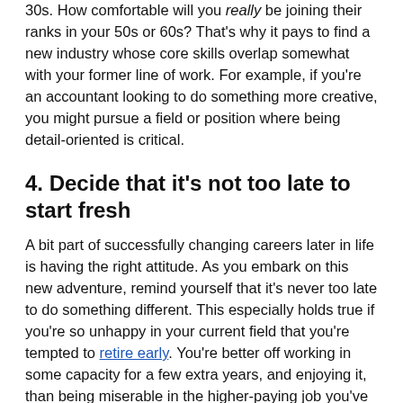30s. How comfortable will you really be joining their ranks in your 50s or 60s? That's why it pays to find a new industry whose core skills overlap somewhat with your former line of work. For example, if you're an accountant looking to do something more creative, you might pursue a field or position where being detail-oriented is critical.
4. Decide that it's not too late to start fresh
A bit part of successfully changing careers later in life is having the right attitude. As you embark on this new adventure, remind yourself that it's never too late to do something different. This especially holds true if you're so unhappy in your current field that you're tempted to retire early. You're better off working in some capacity for a few extra years, and enjoying it, than being miserable in the higher-paying job you've been doing for ages.